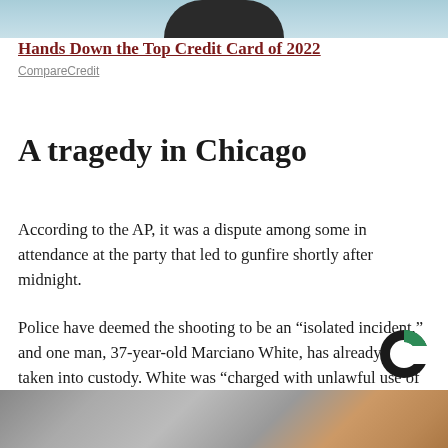[Figure (photo): Top portion of a person's head and shoulders visible against a light blue background, cropped]
Hands Down the Top Credit Card of 2022
CompareCredit
A tragedy in Chicago
According to the AP, it was a dispute among some in attendance at the party that led to gunfire shortly after midnight.
Police have deemed the shooting to be an “isolated incident,” and one man, 37-year-old Marciano White, has already been taken into custody. White was “charged with unlawful use of a weapon by a felon,” the AP reported.
[Figure (logo): CompareCredit logo: black and green C-shaped donut/ring icon]
[Figure (photo): Bottom portion showing a hand holding a red object near what appears to be a machine or device, partially visible]